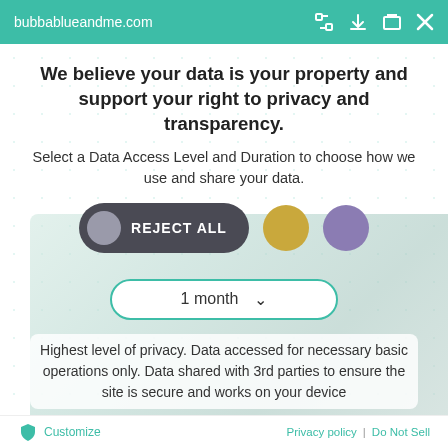bubbablueandme.com
We believe your data is your property and support your right to privacy and transparency.
Select a Data Access Level and Duration to choose how we use and share your data.
[Figure (screenshot): Privacy consent UI with REJECT ALL toggle button, two colored circles (gold and purple), and a dropdown selector showing '1 month']
Highest level of privacy. Data accessed for necessary basic operations only. Data shared with 3rd parties to ensure the site is secure and works on your device
Save my preferences
Customize  Privacy policy  |  Do Not Sell